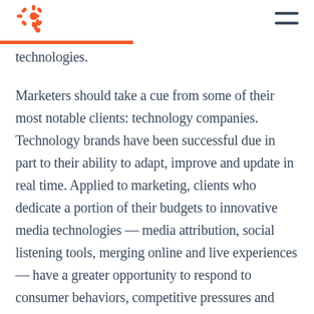HubSpot logo and navigation menu
technologies.
Marketers should take a cue from some of their most notable clients: technology companies. Technology brands have been successful due in part to their ability to adapt, improve and update in real time. Applied to marketing, clients who dedicate a portion of their budgets to innovative media technologies — media attribution, social listening tools, merging online and live experiences — have a greater opportunity to respond to consumer behaviors, competitive pressures and cultural memes. And with connected devices taking over every aspect of our lives, the more brands act in real time, the more relevant they become to people.